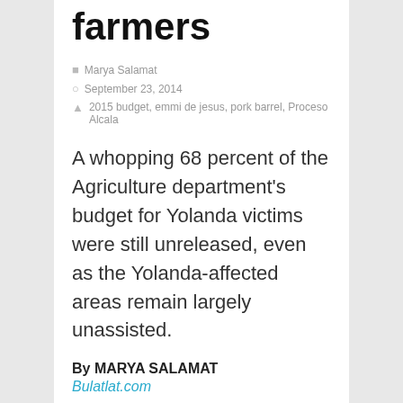farmers
Marya Salamat
September 23, 2014
2015 budget, emmi de jesus, pork barrel, Proceso Alcala
A whopping 68 percent of the Agriculture department's budget for Yolanda victims were still unreleased, even as the Yolanda-affected areas remain largely unassisted.
By MARYA SALAMAT
Bulatlat.com
MANILA – As farmers face